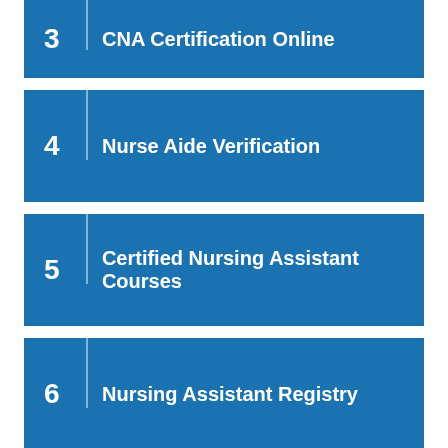3 | CNA Certification Online
4 | Nurse Aide Verification
5 | Certified Nursing Assistant Courses
6 | Nursing Assistant Registry
7 | Nurse Aide Registry